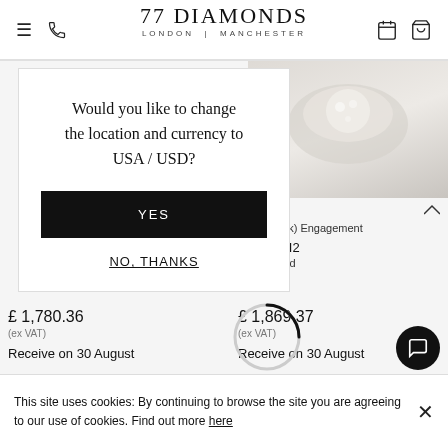77 DIAMONDS LONDON | MANCHESTER
[Figure (screenshot): Partially visible diamond ring product image on right side of page]
odite
Gold (18k) Engagement
t | H | SI2
l Diamond
£ 1,780.36
(ex VAT)
Receive on 30 August
£ 1,869.37
(ex VAT)
Receive on 30 August
Would you like to change the location and currency to USA / USD?
YES
NO, THANKS
This site uses cookies: By continuing to browse the site you are agreeing to our use of cookies. Find out more here